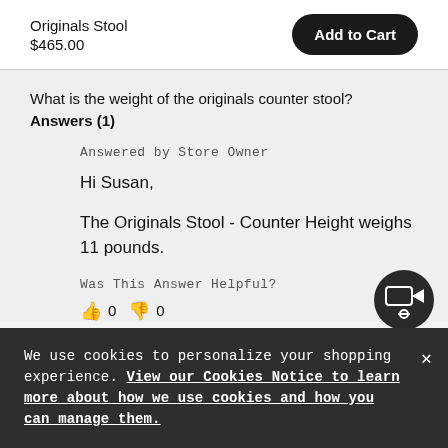Originals Stool
$465.00
Add to Cart
What is the weight of the originals counter stool?
Answers (1)
Answered by Store Owner
Hi Susan,
The Originals Stool - Counter Height weighs 11 pounds.
Was This Answer Helpful?
👍 0 👎 0
We use cookies to personalize your shopping experience. View our Cookies Notice to learn more about how we use cookies and how you can manage them.